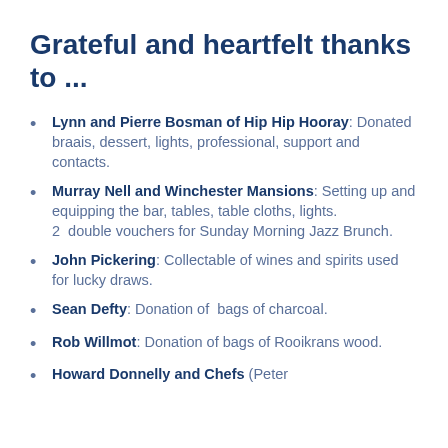Grateful and heartfelt thanks to ...
Lynn and Pierre Bosman of Hip Hip Hooray: Donated braais, dessert, lights, professional, support and contacts.
Murray Nell and Winchester Mansions: Setting up and equipping the bar, tables, table cloths, lights. 2 double vouchers for Sunday Morning Jazz Brunch.
John Pickering: Collectable of wines and spirits used for lucky draws.
Sean Defty: Donation of bags of charcoal.
Rob Willmot: Donation of bags of Rooikrans wood.
Howard Donnelly and Chefs (Peter